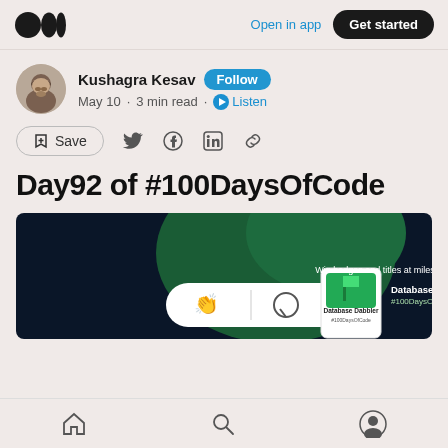Open in app  Get started
Kushagra Kesav  Follow
May 10 · 3 min read · Listen
Save
Day92 of #100DaysOfCode
[Figure (screenshot): Dark green banner image showing '100DaysOfCode' challenge interface with 'Win badges and titles at milestones' text, a white pill-shaped button with clapping and chat icons, and a badge labeled 'Database Dabbler #100DaysOfCode']
Home  Search  Profile